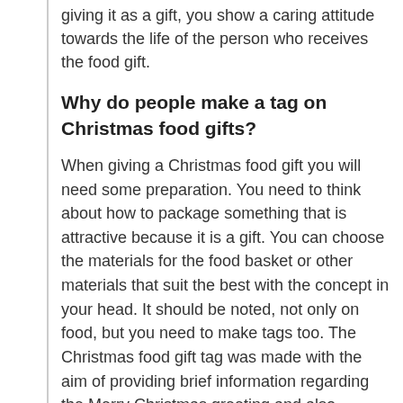giving it as a gift, you show a caring attitude towards the life of the person who receives the food gift.
Why do people make a tag on Christmas food gifts?
When giving a Christmas food gift you will need some preparation. You need to think about how to package something that is attractive because it is a gift. You can choose the materials for the food basket or other materials that suit the best with the concept in your head. It should be noted, not only on food, but you need to make tags too. The Christmas food gift tag was made with the aim of providing brief information regarding the Merry Christmas greeting and also identities such as to and from. Simple, easy, and the message you want to convey is clearly written. It is kind of optional but has an important role when it comes to Christmas food gifts.